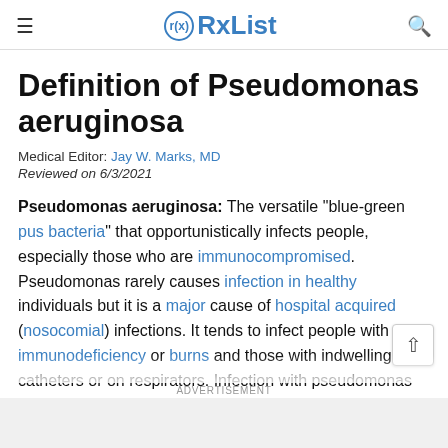≡ RxList 🔍
Definition of Pseudomonas aeruginosa
Medical Editor: Jay W. Marks, MD
Reviewed on 6/3/2021
Pseudomonas aeruginosa: The versatile "blue-green pus bacteria" that opportunistically infects people, especially those who are immunocompromised. Pseudomonas rarely causes infection in healthy individuals but it is a major cause of hospital acquired (nosocomial) infections. It tends to infect people with immunodeficiency or burns and those with indwelling catheters or on respirators. Infection with pseudomonas can lead to urinary tract infections, sepsis
ADVERTISEMENT